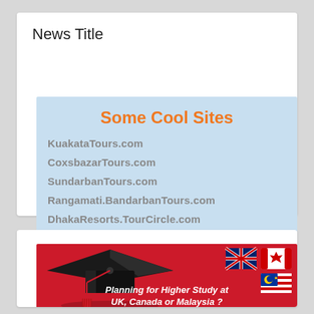News Title
[Figure (infographic): Light blue banner showing 'Some Cool Sites' in orange bold text, followed by a list of tour-related website links in gray bold text: KuakataTours.com, CoxsbazarTours.com, SundarbanTours.com, Rangamati.BandarbanTours.com, DhakaResorts.TourCircle.com]
[Figure (infographic): Red banner with a graduation cap illustration on the left, three country flags (UK, Canada, Malaysia) on the right, and italic white bold text reading 'Planning for Higher Study at UK, Canada or Malaysia ?']